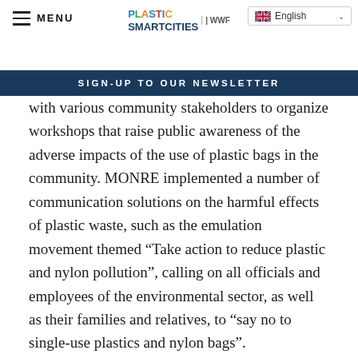MENU | PLASTIC SMART CITIES | WWF | English
SIGN-UP TO OUR NEWSLETTER
with various community stakeholders to organize workshops that raise public awareness of the adverse impacts of the use of plastic bags in the community. MONRE implemented a number of communication solutions on the harmful effects of plastic waste, such as the emulation movement themed “Take action to reduce plastic and nylon pollution”, calling on all officials and employees of the environmental sector, as well as their families and relatives, to “say no to single-use plastics and nylon bags”.
The ministry also coordinated with many localities from across the country to organize